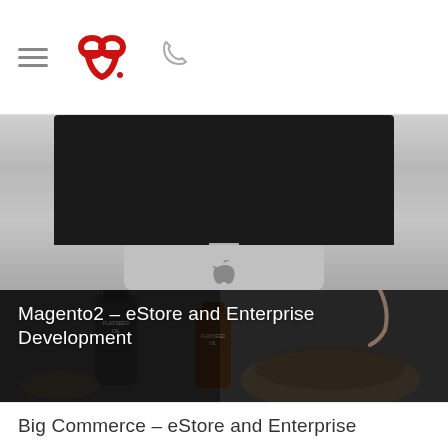[Figure (screenshot): Partial view of an iMac computer monitor showing the bottom bezel and stand with Apple logo visible, silver/grey color scheme]
[Figure (photo): Dark styled product photo showing two Flaxseed Oil bottles with a bowl of food and a hand squeezing oil, dark moody background]
Magento2 – eStore and Enterprise Development
Big Commerce – eStore and Enterprise